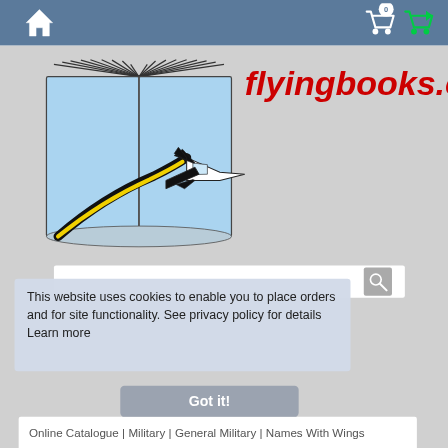[Figure (screenshot): Website header navigation bar with home icon (white house), shopping cart icon with '0' badge, and green checkout cart icon on steel blue background]
[Figure (logo): flyingbooks.co logo: an open book illustration with a jet fighter flying out of it, with yellow streak. Red italic bold text reading 'flyingbooks.co' to the right.]
[Figure (screenshot): Quick Search bar with search icon on right side]
This website uses cookies to enable you to place orders and for site functionality. See privacy policy for details  Learn more
[Figure (screenshot): Twitter bird icon (blue) and Facebook 'f' icon (blue) social media buttons]
[Figure (screenshot): Got it! button in grey-blue rounded rectangle]
Online Catalogue | Military | General Military | Names With Wings